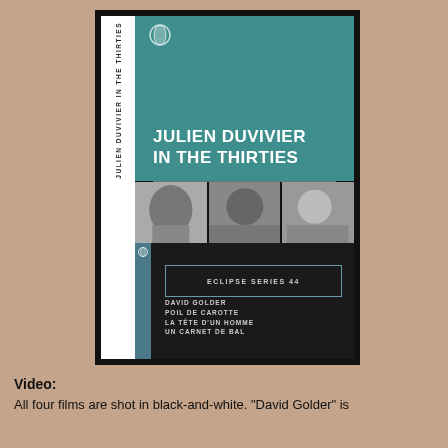[Figure (photo): DVD box set cover for 'Julien Duvivier in the Thirties' (Criterion Eclipse Series 44). The box shows a teal top section with the title in white bold text, a strip of black-and-white film stills in the middle, and a dark bottom section with 'Eclipse Series 44' badge and list of four films: David Golder, Poil de Carotte, La Tête d'un Homme, Un Carnet de Bal. The box has a white spine with the title text vertical.]
Video: All four films are shot in black-and-white. "David Golder" is